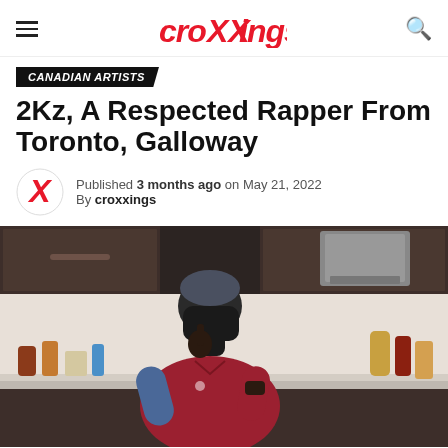croXXings
CANADIAN ARTISTS
2Kz, A Respected Rapper From Toronto, Galloway
Published 3 months ago on May 21, 2022
By croxxings
[Figure (photo): A rapper standing in a kitchen, wearing a red polo shirt and dark mask/beanie, making a hand gesture, with kitchen cabinets and bottles visible in the background.]